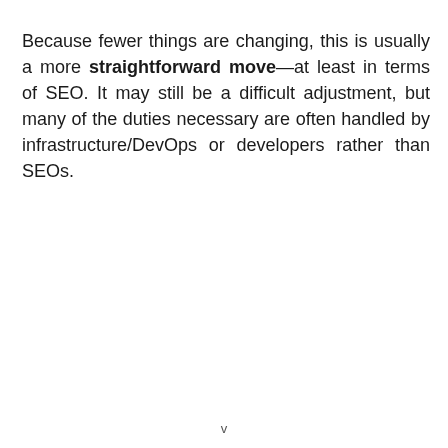Because fewer things are changing, this is usually a more straightforward move—at least in terms of SEO. It may still be a difficult adjustment, but many of the duties necessary are often handled by infrastructure/DevOps or developers rather than SEOs.
v